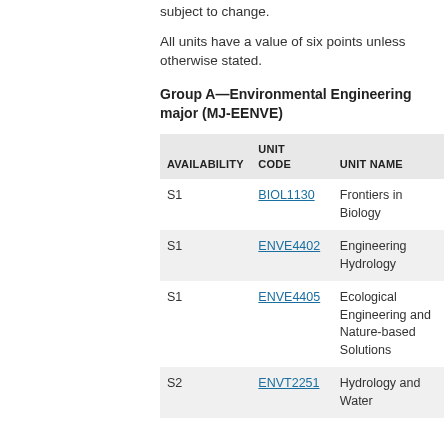subject to change.
All units have a value of six points unless otherwise stated.
Group A—Environmental Engineering major (MJ-EENVE)
| AVAILABILITY | UNIT CODE | UNIT NAME |
| --- | --- | --- |
| S1 | BIOL1130 | Frontiers in Biology |
| S1 | ENVE4402 | Engineering Hydrology |
| S1 | ENVE4405 | Ecological Engineering and Nature-based Solutions |
| S2 | ENVT2251 | Hydrology and Water |